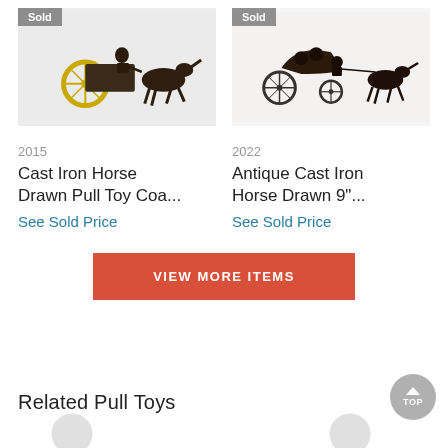[Figure (photo): Cast iron horse drawn pull toy coach, with yellow wheel, driver figure, and horse. 'Sold' badge in top left corner.]
[Figure (photo): Antique cast iron horse drawn carriage with passengers and driver, open top, two horses. 'Sold' badge in top left corner.]
2015
Cast Iron Horse Drawn Pull Toy Coa...
See Sold Price
2022
Antique Cast Iron Horse Drawn 9"...
See Sold Price
VIEW MORE ITEMS
Related Pull Toys